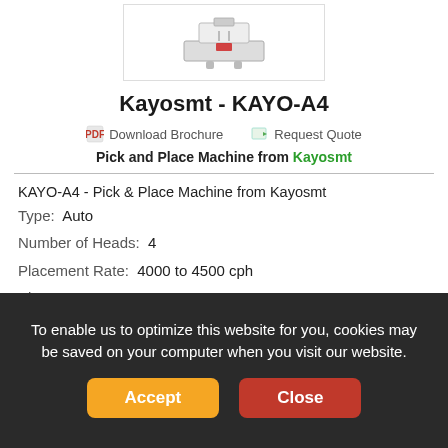[Figure (photo): Product image of Kayosmt KAYO-A4 pick and place machine shown in a bordered box]
Kayosmt - KAYO-A4
Download Brochure   Request Quote
Pick and Place Machine from Kayosmt
KAYO-A4 - Pick & Place Machine from Kayosmt
Type:  Auto
Number of Heads:  4
Placement Rate:  4000 to 4500 cph
Placement accuracy:  ±0.01 mm
PCB Size:  480 x 380 mm
Max no. of feeders:  46
To enable us to optimize this website for you, cookies may be saved on your computer when you visit our website.